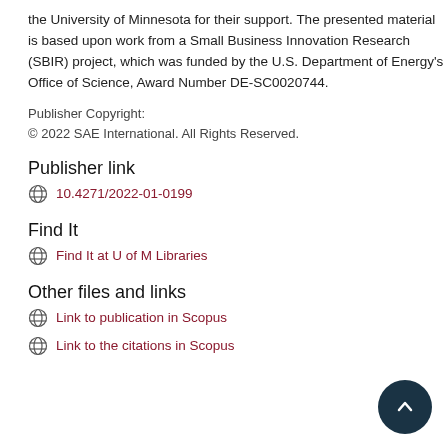the University of Minnesota for their support. The presented material is based upon work from a Small Business Innovation Research (SBIR) project, which was funded by the U.S. Department of Energy's Office of Science, Award Number DE-SC0020744.
Publisher Copyright:
© 2022 SAE International. All Rights Reserved.
Publisher link
10.4271/2022-01-0199
Find It
Find It at U of M Libraries
Other files and links
Link to publication in Scopus
Link to the citations in Scopus